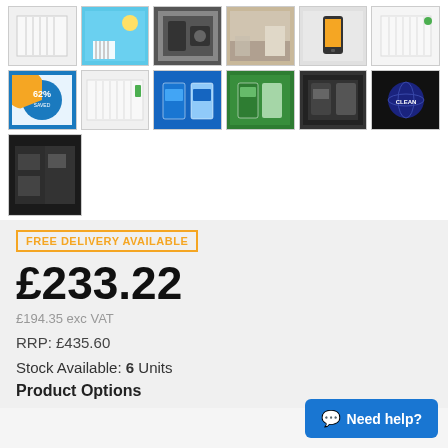[Figure (photo): Grid of 13 product thumbnail images showing radiators, room scenes, app screenshots, and video thumbnails for an electric radiator product]
FREE DELIVERY AVAILABLE
£233.22
£194.35 exc VAT
RRP: £435.60
Stock Available: 6 Units
Product Options